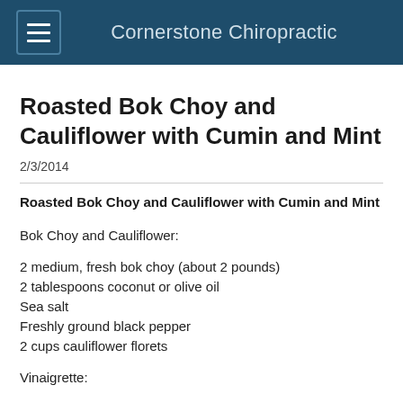Cornerstone Chiropractic
Roasted Bok Choy and Cauliflower with Cumin and Mint
2/3/2014
Roasted Bok Choy and Cauliflower with Cumin and Mint
Bok Choy and Cauliflower:
2 medium, fresh bok choy (about 2 pounds)
2 tablespoons coconut or olive oil
Sea salt
Freshly ground black pepper
2 cups cauliflower florets
Vinaigrette: